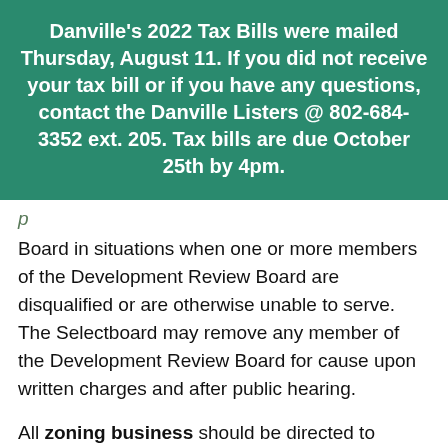Danville's 2022 Tax Bills were mailed Thursday, August 11. If you did not receive your tax bill or if you have any questions, contact the Danville Listers @ 802-684-3352 ext. 205. Tax bills are due October 25th by 4pm.
Board in situations when one or more members of the Development Review Board are disqualified or are otherwise unable to serve. The Selectboard may remove any member of the Development Review Board for cause upon written charges and after public hearing.
All zoning business should be directed to Zoning Administrator (zoning@danvillevt.gov) as the DRB is a quasi-judicial body dealing only with zoning applications for permits and appeals of the Zoning Administrator's decision.